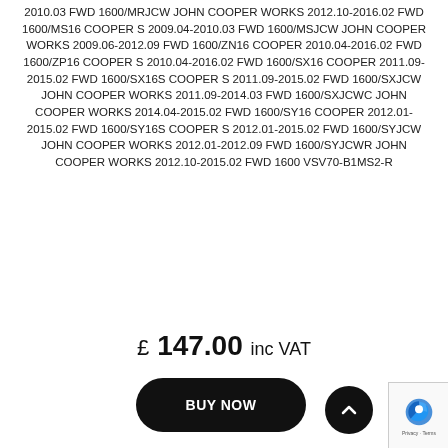2010.03 FWD 1600/MRJCW JOHN COOPER WORKS 2012.10-2016.02 FWD 1600/MS16 COOPER S 2009.04-2010.03 FWD 1600/MSJCW JOHN COOPER WORKS 2009.06-2012.09 FWD 1600/ZN16 COOPER 2010.04-2016.02 FWD 1600/ZP16 COOPER S 2010.04-2016.02 FWD 1600/SX16 COOPER 2011.09-2015.02 FWD 1600/SX16S COOPER S 2011.09-2015.02 FWD 1600/SXJCW JOHN COOPER WORKS 2011.09-2014.03 FWD 1600/SXJCWC JOHN COOPER WORKS 2014.04-2015.02 FWD 1600/SY16 COOPER 2012.01-2015.02 FWD 1600/SY16S COOPER S 2012.01-2015.02 FWD 1600/SYJCW JOHN COOPER WORKS 2012.01-2012.09 FWD 1600/SYJCWR JOHN COOPER WORKS 2012.10-2015.02 FWD 1600 VSV70-B1MS2-R
£ 147.00 inc VAT
BUY NOW